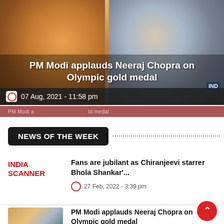[Figure (photo): Hero image showing PM Modi on the left with folded hands and Neeraj Chopra on the right holding a gold medal, with overlaid headline text and date bar]
PM Modi applauds Neeraj Chopra on Olympic gold medal
07 Aug, 2021 - 11:58 pm
NEWS OF THE WEEK
Fans are jubilant as Chiranjeevi starrer Bhola Shankar'...
27 Feb, 2022 - 3:39 pm
[Figure (photo): Thumbnail image showing PM Modi and Neeraj Chopra]
PM Modi applauds Neeraj Chopra on Olympic gold medal